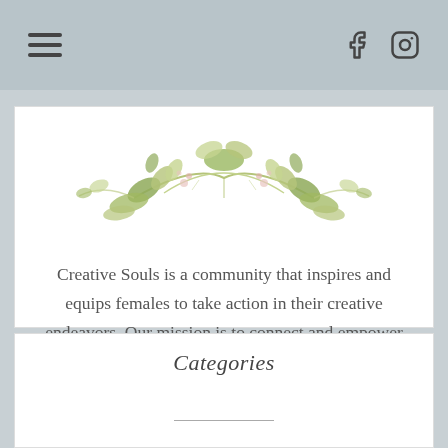Navigation bar with hamburger menu and social icons (Facebook, Instagram)
[Figure (illustration): Watercolor floral/botanical illustration with green and pink leaves and branches]
Creative Souls is a community that inspires and equips females to take action in their creative endeavors. Our mission is to connect and empower women to get in touch with their true creativity.
Categories